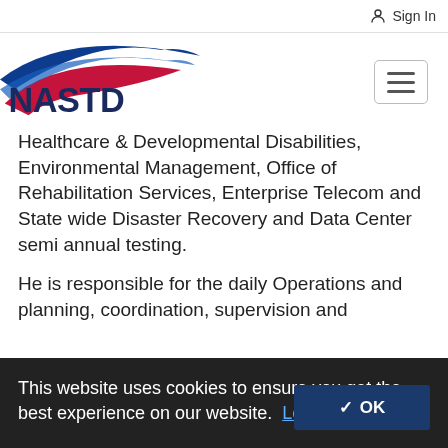Sign In
[Figure (logo): NASTD logo with blue and red swoosh arcs and text NASTD in dark blue]
Healthcare & Developmental Disabilities, Environmental Management, Office of Rehabilitation Services, Enterprise Telecom and State wide Disaster Recovery and Data Center semi annual testing.
He is responsible for the daily Operations and planning, coordination, supervision and
This website uses cookies to ensure you get the best experience on our website.  Learn more